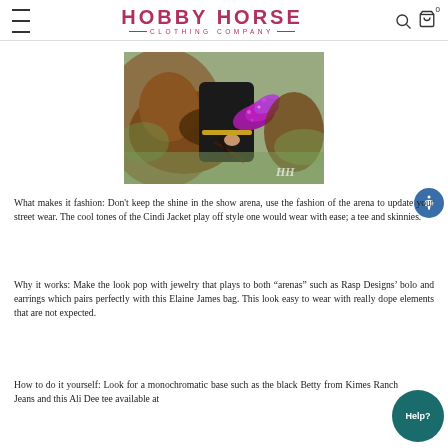HOBBY HORSE — CLOTHING COMPANY —
[Figure (photo): Person wearing a black outfit with a bright magenta/purple sequined jacket sleeve, sitting on or next to a brown horse. Photo has HH watermark in lower right corner.]
What makes it fashion: Don't keep the shine in the show arena, use the fashion of the arena to update your street wear. The cool tones of the Cindi Jacket play off style one would wear with ease; a tee and skinnies.
Why it works: Make the look pop with jewelry that plays to both "arenas" such as Rasp Designs' bolo and earrings which pairs perfectly with this Elaine James bag. This look easy to wear with really dope elements that are not expected.
How to do it yourself: Look for a monochromatic base such as the black Betty from Kimes Ranch Jeans and this Ali Dee tee available at